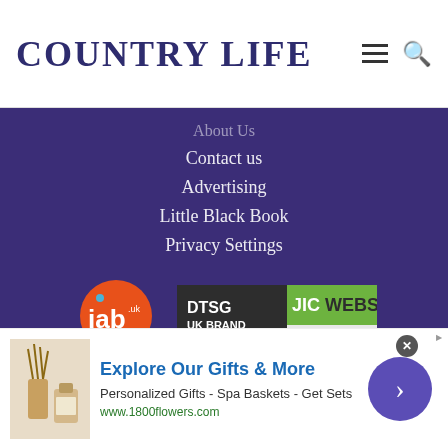COUNTRY LIFE
About Us
Contact us
Advertising
Little Black Book
Privacy Settings
[Figure (logo): IAB UK certified badge — orange circular logo with 'iab' text and a gold ribbon banner below]
[Figure (logo): DTSG JICWebs UK Brand Safety badge with abc logo, valid to September 2019]
COUNTRY LIFE
© Future Publishing Limited Quay House, The Ambury, Bath BA1 1UA. All rights reserved. England and Wales company registration number 2008885
[Figure (photo): Advertisement banner: image of gift products (reed diffuser, soap), headline 'Explore Our Gifts & More', subtext 'Personalized Gifts - Spa Baskets - Get Sets', URL 'www.1800flowers.com', purple arrow button on right]